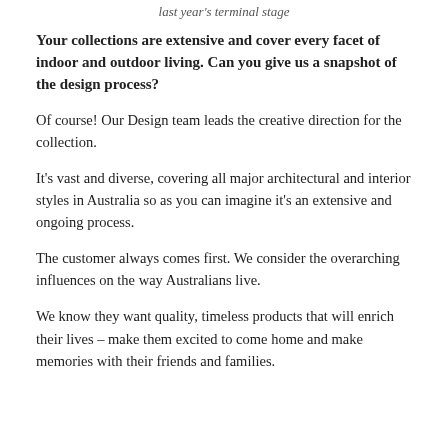last year's terminal stage
Your collections are extensive and cover every facet of indoor and outdoor living. Can you give us a snapshot of the design process?
Of course! Our Design team leads the creative direction for the collection.
It's vast and diverse, covering all major architectural and interior styles in Australia so as you can imagine it's an extensive and ongoing process.
The customer always comes first. We consider the overarching influences on the way Australians live.
We know they want quality, timeless products that will enrich their lives – make them excited to come home and make memories with their friends and families.